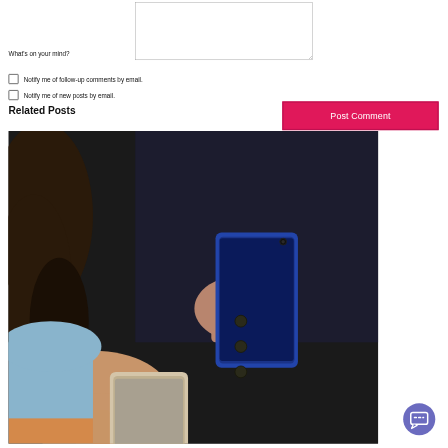What's on your mind?
Notify me of follow-up comments by email.
Notify me of new posts by email.
Related Posts
Post Comment
[Figure (photo): Two people holding smartphones, close-up of hands with phones]